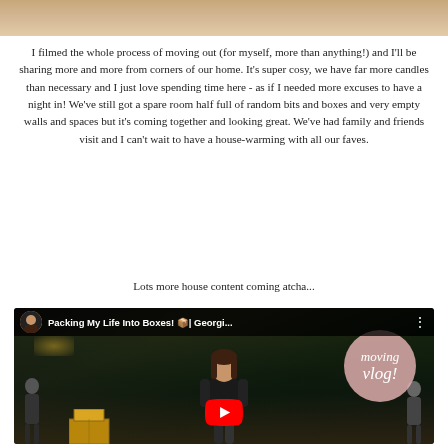[Figure (photo): Top portion of an image showing a warm-toned wooden or stone surface]
I filmed the whole process of moving out (for myself, more than anything!) and I'll be sharing more and more from corners of our home. It's super cosy, we have far more candles than necessary and I just love spending time here - as if I needed more excuses to have a night in! We've still got a spare room half full of random bits and boxes and very empty walls and spaces but it's coming together and looking great. We've had family and friends visit and I can't wait to have a house-warming with all our faves.
Lots more house content coming atcha...
[Figure (screenshot): YouTube video thumbnail showing a young woman in a store or warehouse setting with boxes, with a pink circle overlay reading 'moving vlog!' and a YouTube play button. Video title: Packing My Life Into Boxes! 📦| Georgi...]